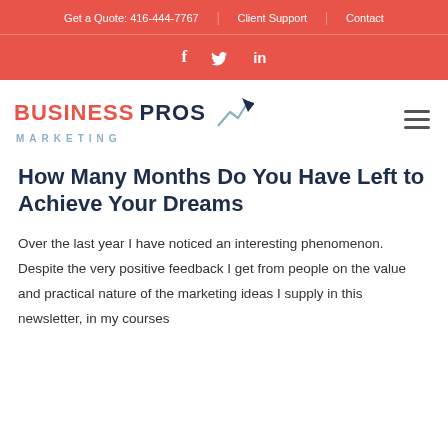Get a Quote: 416-444-7767 | Client Support | Contact
[Figure (logo): Social media icons: Facebook (f), Twitter (bird), LinkedIn (in) on red background]
[Figure (logo): Business Pros Marketing logo with upward arrow and chart line graphic]
How Many Months Do You Have Left to Achieve Your Dreams
Over the last year I have noticed an interesting phenomenon. Despite the very positive feedback I get from people on the value and practical nature of the marketing ideas I supply in this newsletter, in my courses